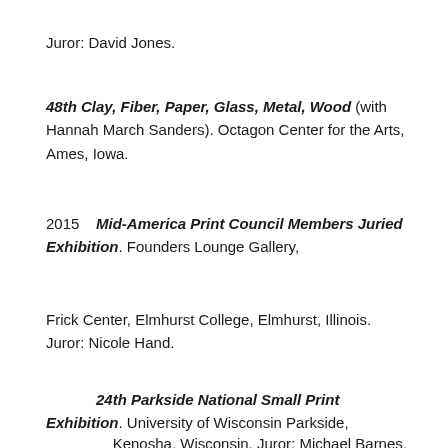Juror: David Jones.
48th Clay, Fiber, Paper, Glass, Metal, Wood (with Hannah March Sanders). Octagon Center for the Arts, Ames, Iowa.
2015   Mid-America Print Council Members Juried Exhibition. Founders Lounge Gallery,
Frick Center, Elmhurst College, Elmhurst, Illinois. Juror: Nicole Hand.
24th Parkside National Small Print Exhibition. University of Wisconsin Parkside,
Kenosha, Wisconsin. Juror: Michael Barnes.